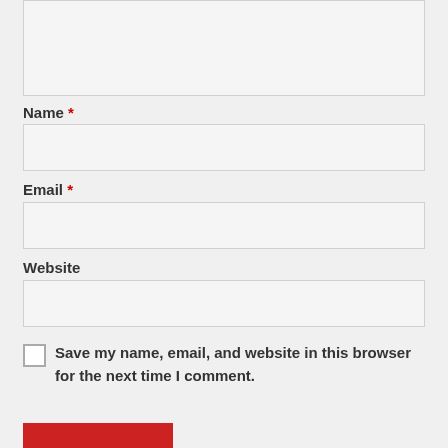[comment textarea]
Name *
[name input]
Email *
[email input]
Website
[website input]
Save my name, email, and website in this browser for the next time I comment.